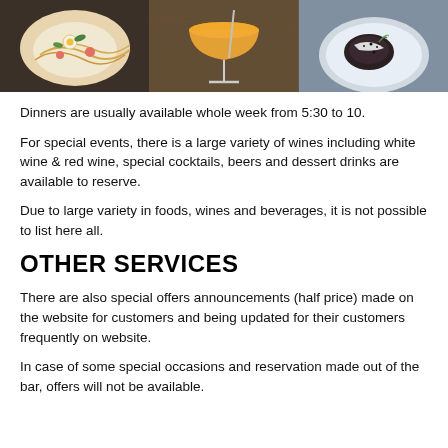[Figure (photo): Three food/drink photos side by side: a seafood pasta dish, an orange cocktail in a coupe glass, and a plated dessert dish]
Dinners are usually available whole week from 5:30 to 10.
For special events, there is a large variety of wines including white wine & red wine, special cocktails, beers and dessert drinks are available to reserve.
Due to large variety in foods, wines and beverages, it is not possible to list here all.
OTHER SERVICES
There are also special offers announcements (half price) made on the website for customers and being updated for their customers frequently on website.
In case of some special occasions and reservation made out of the bar, offers will not be available.